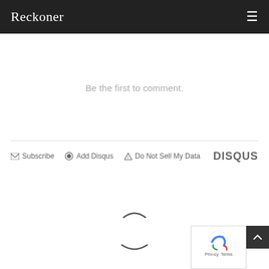Reckoner
Be the first to comment.
[Figure (other): Disqus comment section footer bar with Subscribe, Add Disqus, Do Not Sell My Data links, and DISQUS logo]
[Figure (other): Loading spinner (two arcs suggesting a circular spinner animation)]
[Figure (other): reCAPTCHA badge and back-to-top button with Privacy and Terms text]